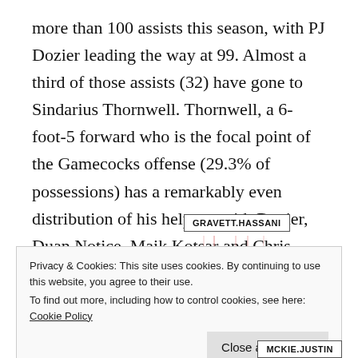more than 100 assists this season, with PJ Dozier leading the way at 99. Almost a third of those assists (32) have gone to Sindarius Thornwell. Thornwell, a 6-foot-5 forward who is the focal point of the Gamecocks offense (29.3% of possessions) has a remarkably even distribution of his helpers, with Dozier, Duan Notice, Maik Kotsar and Chris Silva all receiving between 12 and 22 baskets off his passes.
[Figure (network-graph): Partial network/flowchart diagram showing player assist connections. A label box reads GRAVETT.HASSANI with lines extending downward in pink/red. At the bottom right, another label reads MCKIE.JUSTIN. The diagram is partially obscured by a cookie consent banner.]
Privacy & Cookies: This site uses cookies. By continuing to use this website, you agree to their use.
To find out more, including how to control cookies, see here: Cookie Policy
Close and accept